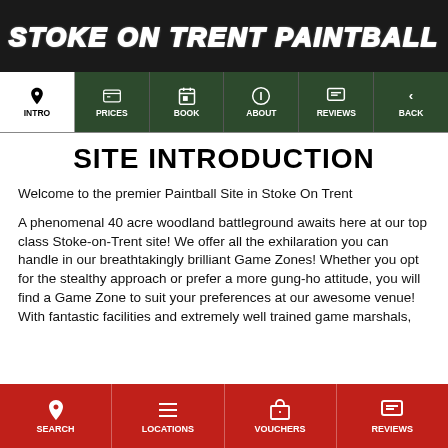STOKE ON TRENT PAINTBALL
[Figure (screenshot): Navigation tab bar with icons for INTRO, PRICES, BOOK, ABOUT, REVIEWS, BACK]
SITE INTRODUCTION
Welcome to the premier Paintball Site in Stoke On Trent
A phenomenal 40 acre woodland battleground awaits here at our top class Stoke-on-Trent site! We offer all the exhilaration you can handle in our breathtakingly brilliant Game Zones! Whether you opt for the stealthy approach or prefer a more gung-ho attitude, you will find a Game Zone to suit your preferences at our awesome venue! With fantastic facilities and extremely well trained game marshals,
[Figure (screenshot): Bottom navigation bar with SEARCH, LOCATIONS, VOUCHERS, REVIEWS icons on red background]